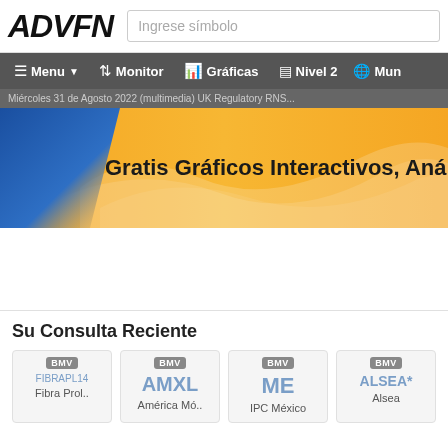[Figure (logo): ADVFN logo in bold italic black text]
Ingrese símbolo
Menu  Monitor  Gráficas  Nivel 2  Mun
Miércoles 31 de Agosto 2022 (multimedia) UK Regulatory RNS...
[Figure (illustration): Banner with blue and gold/orange gradient, wave design, text: Gratis Gráficos Interactivos, Análisis Técr]
Su Consulta Reciente
| Exchange | Symbol | Name |
| --- | --- | --- |
| BMV | FIBRAPL14 | Fibra Prol.. |
| BMV | AMXL | América Mó.. |
| BMV | ME | IPC México |
| BMV | ALSEA* | Alsea |